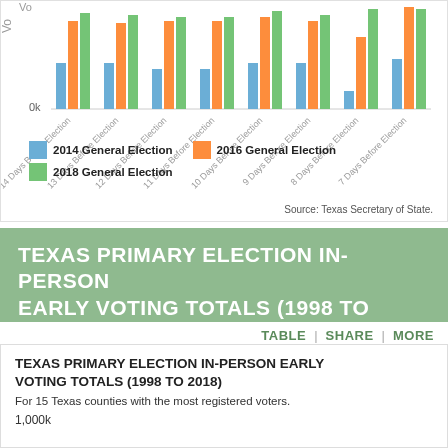[Figure (grouped-bar-chart): Early Voting Totals by Days Before Election]
Source: Texas Secretary of State.
TEXAS PRIMARY ELECTION IN-PERSON EARLY VOTING TOTALS (1998 TO 2018)
TABLE | SHARE | MORE
TEXAS PRIMARY ELECTION IN-PERSON EARLY VOTING TOTALS (1998 TO 2018)
For 15 Texas counties with the most registered voters.
1,000k